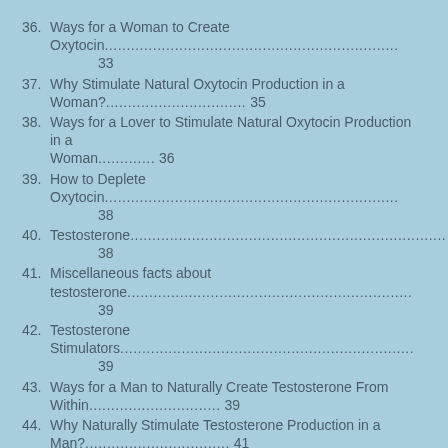36. Ways for a Woman to Create Oxytocin...33
37. Why Stimulate Natural Oxytocin Production in a Woman?... 35
38. Ways for a Lover to Stimulate Natural Oxytocin Production in a Woman.............. 36
39. How to Deplete Oxytocin...38
40. Testosterone...38
41. Miscellaneous facts about testosterone...39
42. Testosterone Stimulators...39
43. Ways for a Man to Naturally Create Testosterone From Within.............................. 39
44. Why Naturally Stimulate Testosterone Production in a Man?.............................. 41